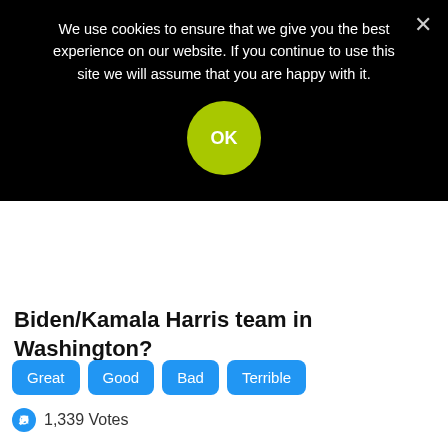We use cookies to ensure that we give you the best experience on our website. If you continue to use this site we will assume that you are happy with it.
Biden/Kamala Harris team in Washington?
Great  Good  Bad  Terrible
1,339 Votes
[Figure (photo): Photo of a blonde woman (Dolly Parton) with voluminous blonde hair, heavy makeup, against an outdoor aerial background with green fields and trees.]